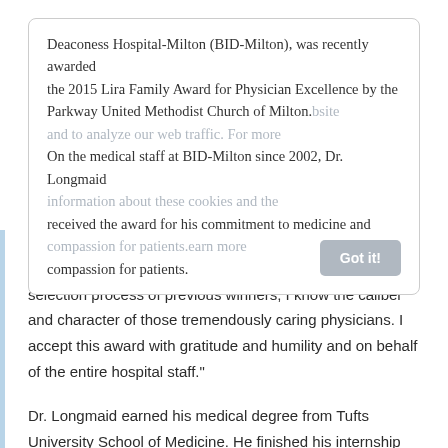Deaconess Hospital-Milton (BID-Milton), was recently awarded the 2015 Lira Family Award for Physician Excellence by the Parkway United Methodist Church of Milton. On the medical staff at BID-Milton since 2002, Dr. Longmaid received the award for his commitment to medicine and compassion for patients.
"I feel very humbled to be the recipient of this year's Lira Award," said Dr. Longmaid. "Having been involved in the selection process of previous winners, I know the caliber and character of those tremendously caring physicians. I accept this award with gratitude and humility and on behalf of the entire hospital staff."
Dr. Longmaid earned his medical degree from Tufts University School of Medicine. He finished his internship and residency at Brigham and Women's Hospital and also completed a clinical fellowship in radiology at Harvard Medical School. In addition to